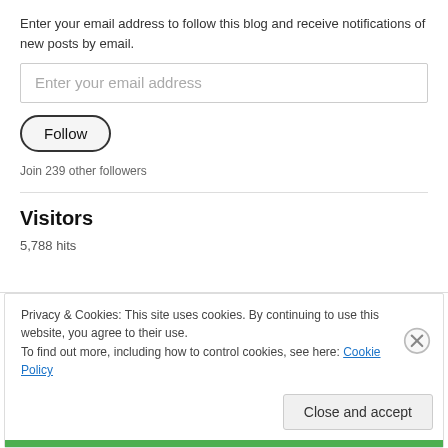Enter your email address to follow this blog and receive notifications of new posts by email.
Enter your email address
Follow
Join 239 other followers
Visitors
5,788 hits
Privacy & Cookies: This site uses cookies. By continuing to use this website, you agree to their use.
To find out more, including how to control cookies, see here: Cookie Policy
Close and accept